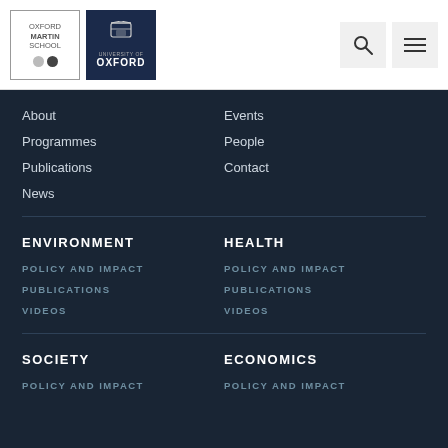[Figure (logo): Oxford Martin School logo with University of Oxford crest]
Oxford Martin School / University of Oxford navigation header with search and menu icons
About
Events
Programmes
People
Publications
Contact
News
ENVIRONMENT
HEALTH
POLICY AND IMPACT
PUBLICATIONS
VIDEOS
POLICY AND IMPACT
PUBLICATIONS
VIDEOS
SOCIETY
ECONOMICS
POLICY AND IMPACT
POLICY AND IMPACT